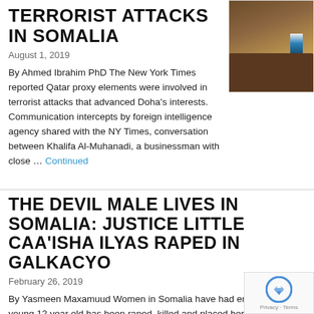TERRORIST ATTACKS IN SOMALIA
August 1, 2019
By Ahmed Ibrahim PhD The New York Times reported Qatar proxy elements were involved in terrorist attacks that advanced Doha's interests. Communication intercepts by foreign intelligence agency shared with the NY Times, conversation between Khalifa Al-Muhanadi, a businessman with close … Continued
[Figure (photo): Photo of a person seated at a desk with a flag in the background]
THE DEVIL MALE LIVES IN SOMALIA: JUSTICE LITTLE CAA'ISHA ILYAS RAPED IN GALKACYO
February 26, 2019
By Yasmeen Maxamuud Women in Somalia have had enough. A young 12 year old has been raped, killed and placed her mutilated, desecrated body in door this week. The tragedy of Caa'isha Ilyas is not … Continued